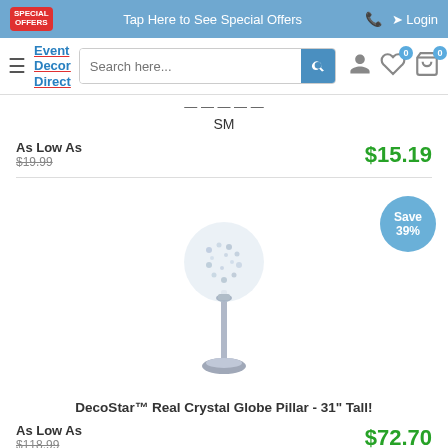Special Offers | Tap Here to See Special Offers | Phone | Login
[Figure (screenshot): Event Decor Direct website navigation bar with hamburger menu, logo, search box, user icon, wishlist with 0 badge, and cart with 0 badge]
SM
As Low As $19.99 $15.19
[Figure (photo): DecoStar Real Crystal Globe Pillar candle holder on tall chrome stand, 31 inches tall, with crystal globe at top]
Save 39%
DecoStar™ Real Crystal Globe Pillar - 31" Tall!
As Low As $118.99 $72.70
[Figure (photo): Partial view of another product at bottom of page, with Save badge partially visible]